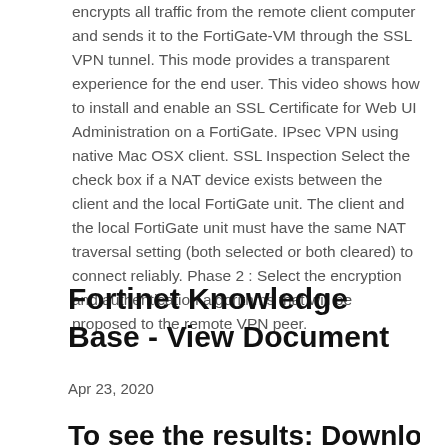encrypts all traffic from the remote client computer and sends it to the FortiGate-VM through the SSL VPN tunnel. This mode provides a transparent experience for the end user. This video shows how to install and enable an SSL Certificate for Web UI Administration on a FortiGate. IPsec VPN using native Mac OSX client. SSL Inspection Select the check box if a NAT device exists between the client and the local FortiGate unit. The client and the local FortiGate unit must have the same NAT traversal setting (both selected or both cleared) to connect reliably. Phase 2 : Select the encryption and authentication algorithms that will be proposed to the remote VPN peer.
Fortinet Knowledge Base - View Document
Apr 23, 2020
To see the results: Download FortiClient from